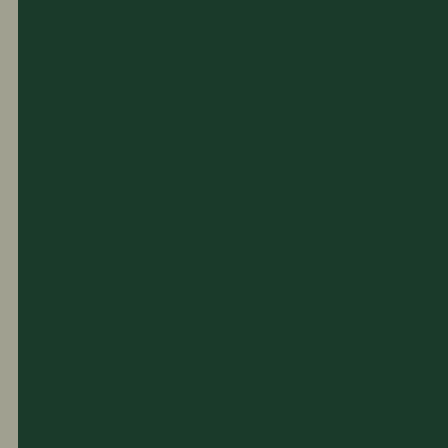[Figure (photo): Dark green/teal rectangular panel occupying the left portion of the page, likely a microscopy or brain scan image with very dark coloring.]
longer observed. Measuremeats of doparrine (DA), noradrenaline (NA) and 5-HT levels in the cerebral cortex, including the hippocanpal formation, and in the rest of the brain in front of the 5,7-DHT‐induced lesion, indicated that this behavioral deficit noted 5 days after the operation was related to a degeneration of 5-HT nerve terminals in the telencephalon and diencephalon. By pretreatment with the 5-HT uptake-blocking agent, zimelidine (20 mg/kg), 1 hr earlier, it was possible to partially protect the